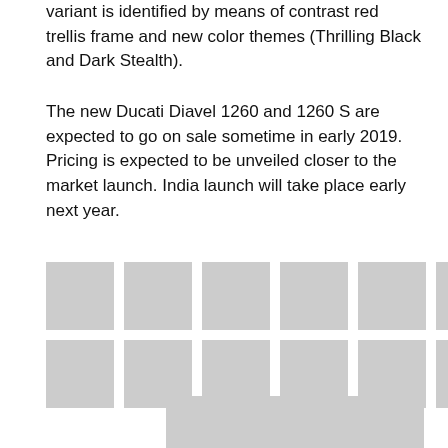variant is identified by means of contrast red trellis frame and new color themes (Thrilling Black and Dark Stealth).
The new Ducati Diavel 1260 and 1260 S are expected to go on sale sometime in early 2019. Pricing is expected to be unveiled closer to the market launch. India launch will take place early next year.
[Figure (photo): Row of 9 thumbnail images (gray placeholders)]
[Figure (photo): Row of 9 thumbnail images (gray placeholders)]
[Figure (photo): Large image (gray placeholder)]